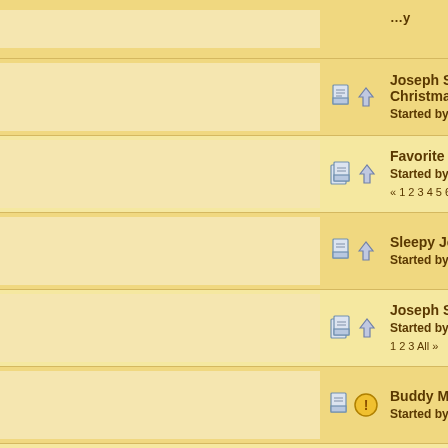Joseph Spence Makes WaPo Christmas Song List — Started by MarkC
Favorite singers — Started by Johnm « 1 2 3 4 5 6 ... 11
Sleepy John Estes' Guitar Pl... — Started by Johnm
Joseph Spence — Started by ryan « 1 2 3 All »
Buddy Moss arrested for mu... — Started by cjblues04
William Harris query — Started by Johnm
Black Crepe on Door — Started by harriet